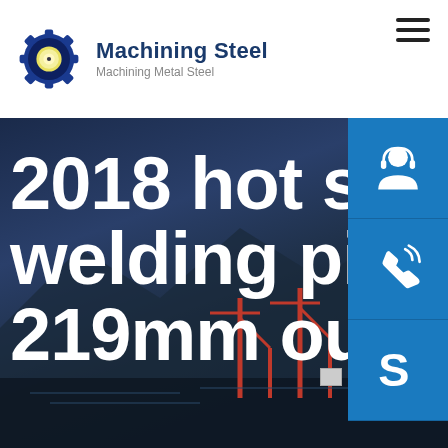[Figure (logo): Machining Steel gear logo with company name and tagline]
2018 hot sale project welding pipe 20mm 219mm outer diameter
[Figure (infographic): Blue steel industrial port background with cranes and mountains silhouette serving as hero section backdrop with three blue side buttons: customer service, phone, and Skype icons]